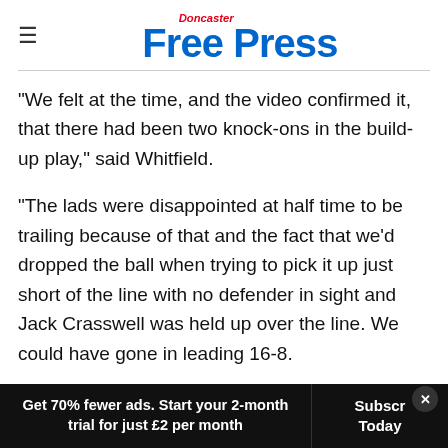Doncaster Free Press
“We felt at the time, and the video confirmed it, that there had been two knock-ons in the build-up play,” said Whitfield.
“The lads were disappointed at half time to be trailing because of that and the fact that we’d dropped the ball when trying to pick it up just short of the line with no defender in sight and Jack Crasswell was held up over the line. We could have gone in leading 16-8.
Get 70% fewer ads. Start your 2-month trial for just £2 per month  Subscribe Today